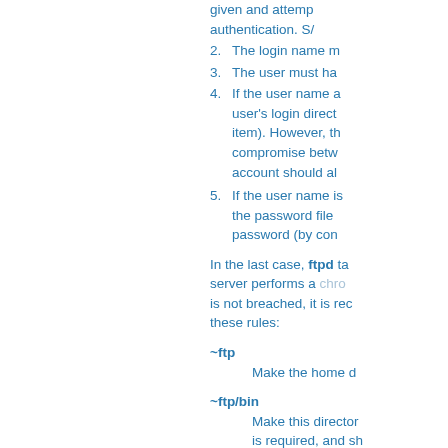given and attempted authentication. S/
2. The login name m
3. The user must ha
4. If the user name a user's login direct item). However, th compromise betw account should al
5. If the user name is the password file password (by con
In the last case, ftpd ta server performs a chro is not breached, it is rec these rules:
~ftp Make the home d
~ftp/bin Make this director is required, and sh this directory shou
~ftp/etc Make this directo